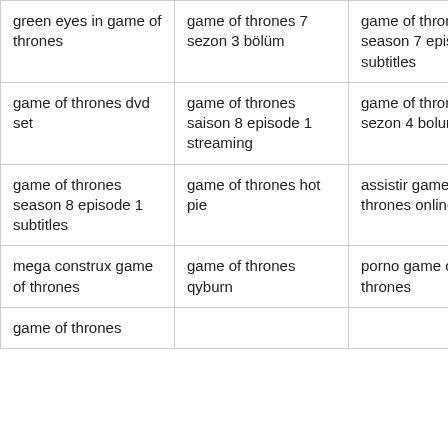| green eyes in game of thrones | game of thrones 7 sezon 3 bölüm | game of thrones season 7 episode 6 subtitles |
| game of thrones dvd set | game of thrones saison 8 episode 1 streaming | game of thrones 8 sezon 4 bolum izle |
| game of thrones season 8 episode 1 subtitles | game of thrones hot pie | assistir game of thrones online |
| mega construx game of thrones | game of thrones qyburn | porno game of thrones |
| game of thrones |  |  |